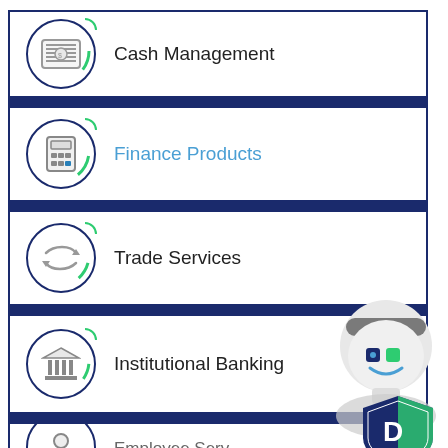Cash Management
Finance Products
Trade Services
Institutional Banking
Employee Services (partial)
[Figure (illustration): Friendly white robot chatbot mascot with blue and green shield logo overlay]